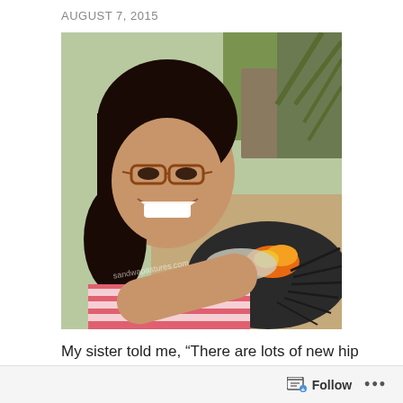AUGUST 7, 2015
[Figure (photo): A young woman wearing glasses and a red-and-white striped top smiling and taking a selfie outdoors. In the foreground, palm fronds are burning with visible orange flames and ash. Background shows trees, a fence, and bright daylight. Watermark text reads 'sandwapastures.com'.]
My sister told me, “There are lots of new hip places in our hometown right now, go to this, that…” Truth of the
Follow ...